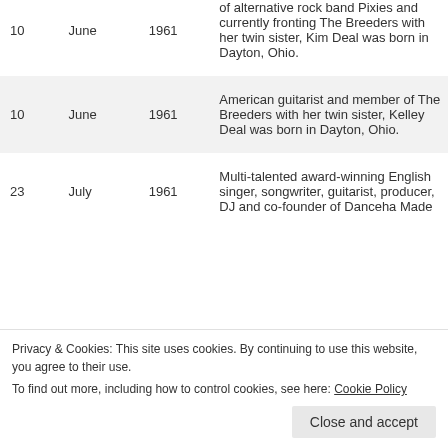| Day | Month | Year | Description |
| --- | --- | --- | --- |
| 10 | June | 1961 | of alternative rock band Pixies and currently fronting The Breeders with her twin sister, Kim Deal was born in Dayton, Ohio. |
| 10 | June | 1961 | American guitarist and member of The Breeders with her twin sister, Kelley Deal was born in Dayton, Ohio. |
| 23 | July | 1961 | Multi-talented award-winning English singer, songwriter, guitarist, producer, DJ and co-founder of Danceha Mada... with rock band U2, The Edge |
Privacy & Cookies: This site uses cookies. By continuing to use this website, you agree to their use. To find out more, including how to control cookies, see here: Cookie Policy
Close and accept